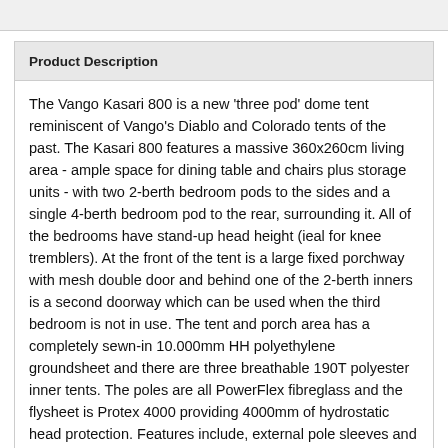Product Description
The Vango Kasari 800 is a new 'three pod' dome tent reminiscent of Vango's Diablo and Colorado tents of the past. The Kasari 800 features a massive 360x260cm living area - ample space for dining table and chairs plus storage units - with two 2-berth bedroom pods to the sides and a single 4-berth bedroom pod to the rear, surrounding it. All of the bedrooms have stand-up head height (ieal for knee tremblers). At the front of the tent is a large fixed porchway with mesh double door and behind one of the 2-berth inners is a second doorway which can be used when the third bedroom is not in use. The tent and porch area has a completely sewn-in 10.000mm HH polyethylene groundsheet and there are three breathable 190T polyester inner tents. The poles are all PowerFlex fibreglass and the flysheet is Protex 4000 providing 4000mm of hydrostatic head protection. Features include, external pole sleeves and pole clips allowing flysheet first erection (estimated erection time 20 minutes), colour coded poles and pole sleeves for easy set-up, flexible inners than can be